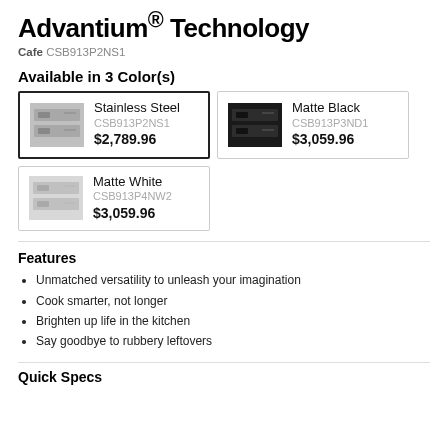Advantium® Technology
Cafe CSB913P2NS1
Available in 3 Color(s)
| Color | SKU | Price |
| --- | --- | --- |
| Stainless Steel | CSB913P2NS1 | $2,789.96 |
| Matte Black | CSB913P3ND1 | $3,059.96 |
| Matte White | CSB913P4NW2 | $3,059.96 |
Features
Unmatched versatility to unleash your imagination
Cook smarter, not longer
Brighten up life in the kitchen
Say goodbye to rubbery leftovers
Quick Specs